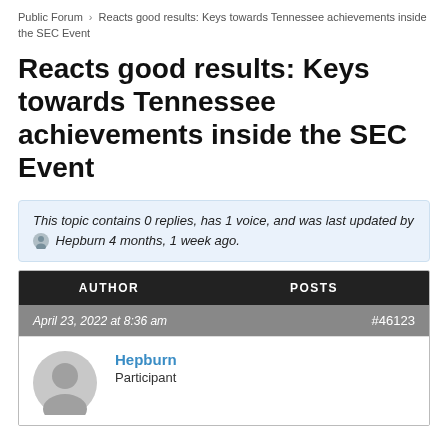Public Forum › Reacts good results: Keys towards Tennessee achievements inside the SEC Event
Reacts good results: Keys towards Tennessee achievements inside the SEC Event
This topic contains 0 replies, has 1 voice, and was last updated by Hepburn 4 months, 1 week ago.
| AUTHOR | POSTS |
| --- | --- |
| April 23, 2022 at 8:36 am | #46123 |
| Hepburn / Participant |  |